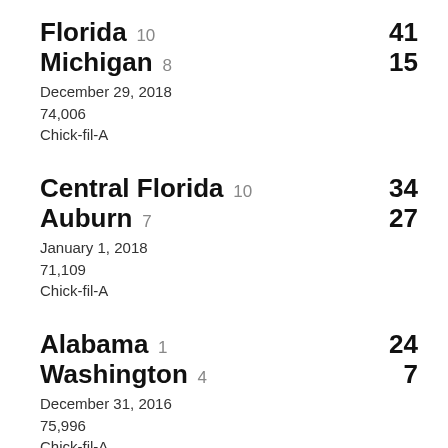Florida 10 — 41
Michigan 8 — 15
December 29, 2018
74,006
Chick-fil-A
Central Florida 10 — 34
Auburn 7 — 27
January 1, 2018
71,109
Chick-fil-A
Alabama 1 — 24
Washington 4 — 7
December 31, 2016
75,996
Chick-fil-A